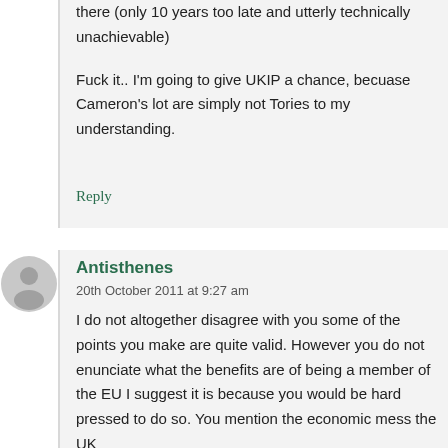there (only 10 years too late and utterly technically unachievable)

Fuck it.. I'm going to give UKIP a chance, becuase Cameron's lot are simply not Tories to my understanding.
Reply
[Figure (illustration): Grey avatar/user icon circle with silhouette of a person]
Antisthenes
20th October 2011 at 9:27 am
I do not altogether disagree with you some of the points you make are quite valid. However you do not enunciate what the benefits are of being a member of the EU I suggest it is because you would be hard pressed to do so. You mention the economic mess the UK